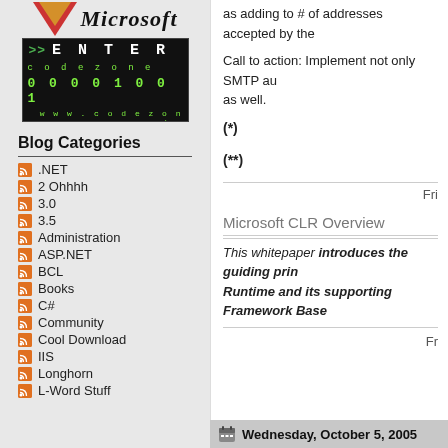[Figure (logo): Microsoft logo text]
[Figure (screenshot): Codezone.de banner with green matrix-style display reading >> ENTER codezone 00001001 www.codezone.de]
Blog Categories
.NET
2 Ohhhh
3.0
3.5
Administration
ASP.NET
BCL
Books
C#
Community
Cool Download
IIS
Longhorn
L-Word Stuff
as adding to # of addresses accepted by the
Call to action: Implement not only SMTP au as well.
(*)
(**)
Fri
Microsoft CLR Overview
This whitepaper introduces the guiding prin Runtime and its supporting Framework Base
Fr
Wednesday, October 5, 2005